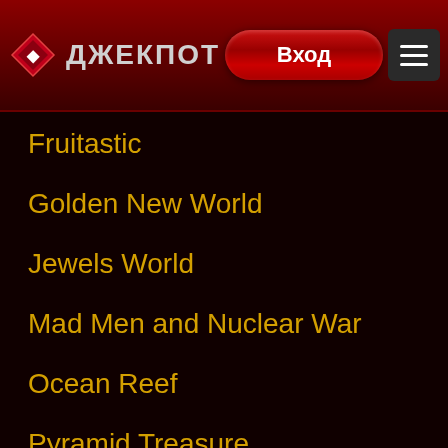ДЖЕКПОТ | Вход
Fruitastic
Golden New World
Jewels World
Mad Men and Nuclear War
Ocean Reef
Pyramid Treasure
Riches From the Deep
Royal Crown
Steampunk Big City
Stunning Hot 20 Deluxe